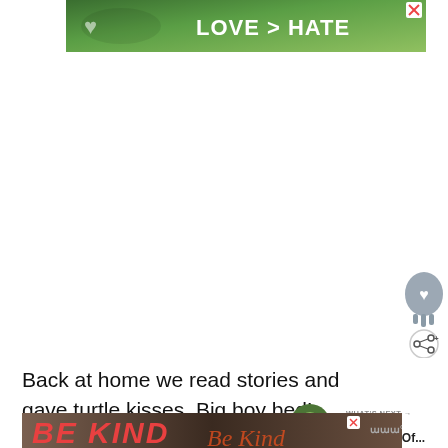[Figure (screenshot): Top advertisement banner showing hands forming a heart shape with green nature background and text 'LOVE > HATE' in white bold letters, with a close X button]
[Figure (screenshot): Social share UI: a grey melting heart icon and a white circular share icon with arrows on the right side]
Back at home we read stories and gave turtle kisses. Big boy bed!
[Figure (screenshot): WHAT'S NEXT panel showing a circular food thumbnail image and text 'Happy Weekend Of...']
[Figure (screenshot): Bottom advertisement banner showing 'BE KIND' text in red italic letters with decorative script overlay and a music service icon]